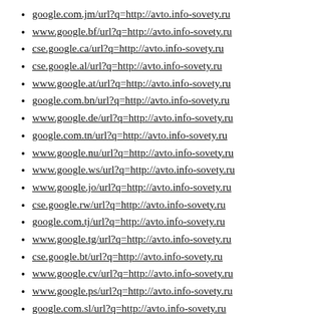google.com.jm/url?q=http://avto.info-sovety.ru
www.google.bf/url?q=http://avto.info-sovety.ru
cse.google.ca/url?q=http://avto.info-sovety.ru
cse.google.al/url?q=http://avto.info-sovety.ru
www.google.at/url?q=http://avto.info-sovety.ru
google.com.bn/url?q=http://avto.info-sovety.ru
www.google.de/url?q=http://avto.info-sovety.ru
google.com.tn/url?q=http://avto.info-sovety.ru
www.google.nu/url?q=http://avto.info-sovety.ru
www.google.ws/url?q=http://avto.info-sovety.ru
www.google.jo/url?q=http://avto.info-sovety.ru
cse.google.rw/url?q=http://avto.info-sovety.ru
google.com.tj/url?q=http://avto.info-sovety.ru
www.google.tg/url?q=http://avto.info-sovety.ru
cse.google.bt/url?q=http://avto.info-sovety.ru
www.google.cv/url?q=http://avto.info-sovety.ru
www.google.ps/url?q=http://avto.info-sovety.ru
google.com.sl/url?q=http://avto.info-sovety.ru
cse.google.cm/url?q=http://avto.info-sovety.ru